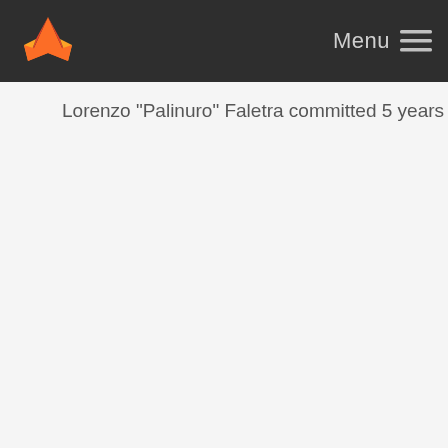Menu
Lorenzo "Palinuro" Faletra committed 5 years ago